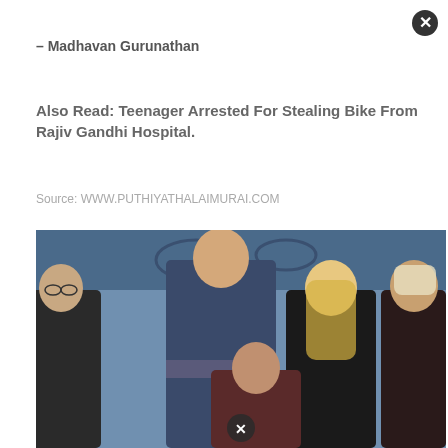– Madhavan Gurunathan
Also Read: Teenager Arrested For Stealing Bike From Rajiv Gandhi Hospital.
Source: WWW.PUTHIYATHALAIMURAI.COM
[Figure (photo): Group photo of five people (four adults standing, one crouching in front) against a dark decorative background. Two close icons overlaid on the image.]